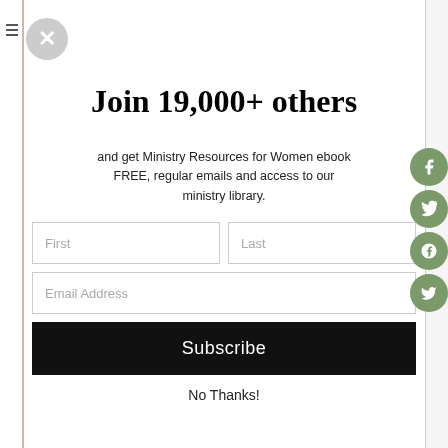Join 19,000+ others
and get Ministry Resources for Women ebook FREE, regular emails and access to our ministry library.
First | Last | Email Address | Subscribe | No Thanks!